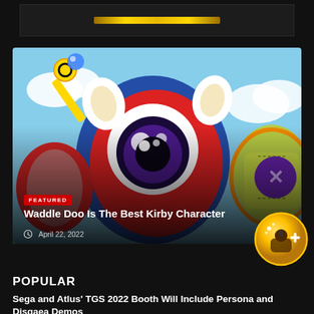[Figure (screenshot): Top banner area with gold bar element on dark background]
[Figure (photo): Featured article image showing Kirby characters - Waddle Doo and other colorful game characters on a blue sky background]
FEATURED
Waddle Doo Is The Best Kirby Character
April 22, 2022
[Figure (logo): Gold circular badge with joystick and plus icon]
POPULAR
Sega and Atlus' TGS 2022 Booth Will Include Persona and Disgaea Demos